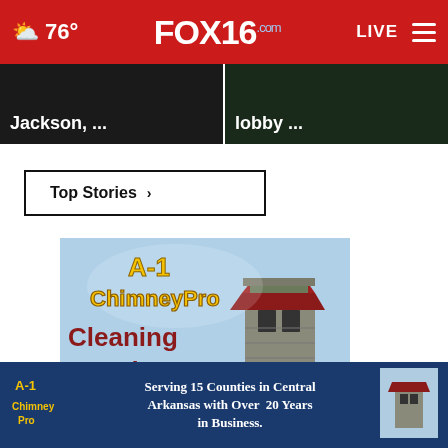FOX16.com — 76° LIVE
[Figure (screenshot): Two news story thumbnails with text overlays: 'Jackson, ...' on left, 'lobby ...' on right]
Top Stories ›
[Figure (photo): A-1 ChimneyPro advertisement showing logo and text: Cleaning Repairs Installation, with chimney image]
[Figure (photo): A-1 ChimneyPro bottom banner ad: Serving 15 Counties in Central Arkansas with Over 20 Years in Business.]